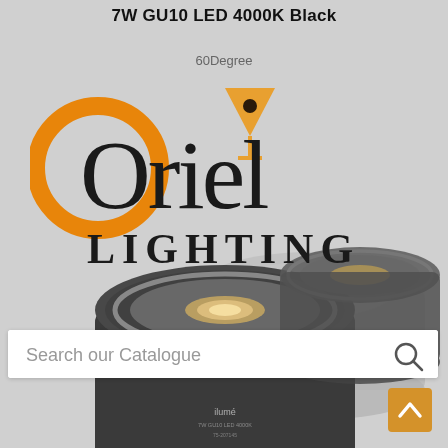7W GU10 LED 4000K Black
60Degree
[Figure (logo): Oriel Lighting logo with orange circle O, martini-glass icon, and text 'Oriel LIGHTING' in dark serif font]
[Figure (photo): Two black GU10 LED bulbs (Ilume brand), one face-on and one angled behind, on grey background]
Search our Catalogue
[Figure (other): Back to top button - orange square with white upward chevron arrow]